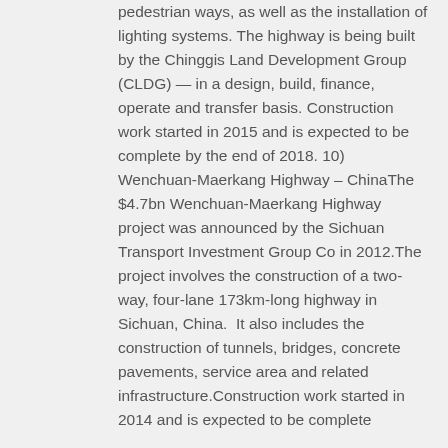pedestrian ways, as well as the installation of lighting systems. The highway is being built by the Chinggis Land Development Group (CLDG) — in a design, build, finance, operate and transfer basis. Construction work started in 2015 and is expected to be complete by the end of 2018. 10)  Wenchuan-Maerkang Highway – ChinaThe $4.7bn Wenchuan-Maerkang Highway project was announced by the Sichuan Transport Investment Group Co in 2012.The project involves the construction of a two-way, four-lane 173km-long highway in Sichuan, China.  It also includes the construction of tunnels, bridges, concrete pavements, service area and related infrastructure.Construction work started in 2014 and is expected to be complete